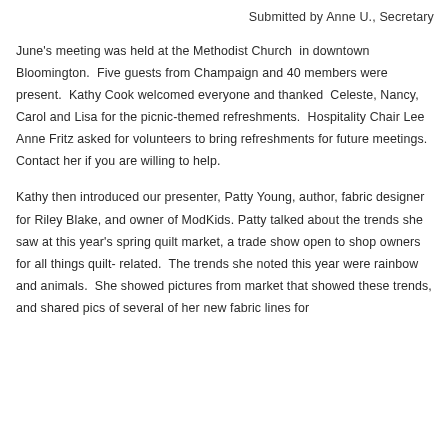Submitted by Anne U., Secretary
June's meeting was held at the Methodist Church  in downtown Bloomington.  Five guests from Champaign and 40 members were present.  Kathy Cook welcomed everyone and thanked  Celeste, Nancy, Carol and Lisa for the picnic-themed refreshments.  Hospitality Chair Lee Anne Fritz asked for volunteers to bring refreshments for future meetings.  Contact her if you are willing to help.
Kathy then introduced our presenter, Patty Young, author, fabric designer for Riley Blake, and owner of ModKids. Patty talked about the trends she saw at this year's spring quilt market, a trade show open to shop owners for all things quilt-related.  The trends she noted this year were rainbow and animals.  She showed pictures from market that showed these trends, and shared pics of several of her new fabric lines for